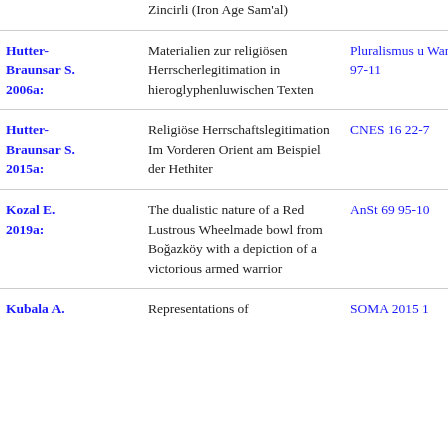| Author | Title | Publication |
| --- | --- | --- |
|  | Zincirli (Iron Age Sam'al) |  |
| Hutter-Braunsar S. 2006a: | Materialien zur religiösen Herrscherlegitimation in hieroglyphenluwischen Texten | Pluralismus u Wandel 97-11 |
| Hutter-Braunsar S. 2015a: | Religiöse Herrschaftslegitimation Im Vorderen Orient am Beispiel der Hethiter | CNES 16 22-7 |
| Kozal E. 2019a: | The dualistic nature of a Red Lustrous Wheelmade bowl from Boğazköy with a depiction of a victorious armed warrior | AnSt 69 95-10 |
| Kubala A. | Representations of | SOMA 2015 1 |